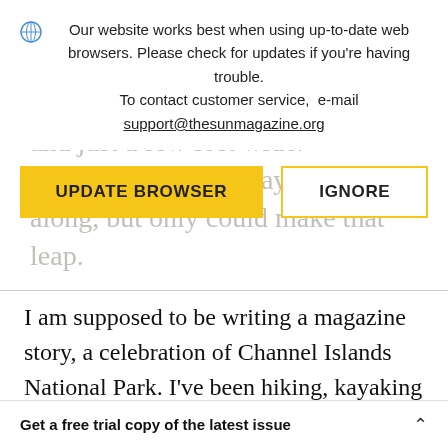Our website works best when using up-to-date web browsers. Please check for updates if you're having trouble. To contact customer service, e-mail support@thesunmagazine.org
UPDATE BROWSER | IGNORE
I am supposed to be writing a magazine story, a celebration of Channel Islands National Park. I've been hiking, kayaking into the caves, snorkeling in the cold kelp forests, and dutifully
Get a free trial copy of the latest issue ^